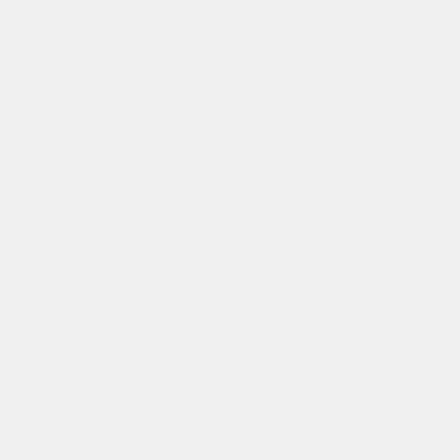[Figure (advertisement): Dextenza (dexamethasone ophthalmic insert) 0.4 mg for intracanalicular use pharmaceutical advertisement banner. Dark purple/brown gradient background with a needle/inserter device image. Includes brand name, Learn More CTA button with arrow, and copyright/legal text.]